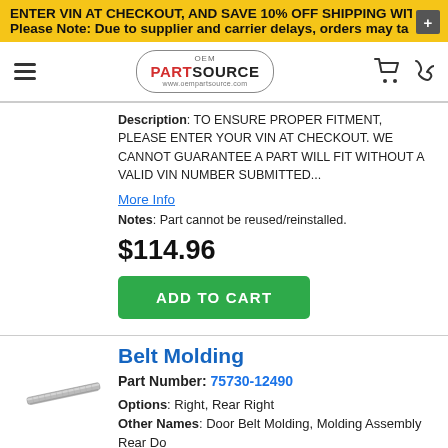ENTER VIN AT CHECKOUT, AND SAVE 10% OFF SHIPPING WITH PF
Please Note: Due to supplier and carrier delays, orders may ta
[Figure (logo): OEM Part Source logo in oval border with hamburger menu, cart and phone icons]
Description: TO ENSURE PROPER FITMENT, PLEASE ENTER YOUR VIN AT CHECKOUT. WE CANNOT GUARANTEE A PART WILL FIT WITHOUT A VALID VIN NUMBER SUBMITTED...
More Info
Notes: Part cannot be reused/reinstalled.
$114.96
ADD TO CART
Belt Molding
Part Number: 75730-12490
[Figure (photo): Photo of a belt molding strip part]
Options: Right, Rear Right
Other Names: Door Belt Molding, Molding Assembly Rear Do
Description: Japan built.
Notes: Part cannot be reused/reinstalled